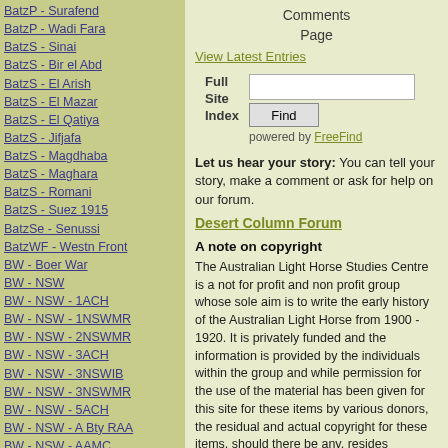BatzP - Surafend
BatzP - Wadi Fara
BatzS - Sinai
BatzS - Bir el Abd
BatzS - El Arish
BatzS - El Mazar
BatzS - El Qatiya
BatzS - Jifjafa
BatzS - Magdhaba
BatzS - Maghara
BatzS - Romani
BatzS - Suez 1915
BatzSe - Senussi
BatzWF - Westn Front
BW - Boer War
BW - NSW
BW - NSW - 1ACH
BW - NSW - 1NSWMR
BW - NSW - 2NSWMR
BW - NSW - 3ACH
BW - NSW - 3NSWIB
BW - NSW - 3NSWMR
BW - NSW - 5ACH
BW - NSW - A Bty RAA
BW - NSW - AAMC
BW - NSW - Aust H
BW - NSW - Lancers
BW - NSW - NSW Inf
Comments Page
View Latest Entries
Full Site Index
Find
powered by FreeFind
Let us hear your story: You can tell your story, make a comment or ask for help on our forum.
Desert Column Forum
A note on copyright
The Australian Light Horse Studies Centre is a not for profit and non profit group whose sole aim is to write the early history of the Australian Light Horse from 1900 - 1920. It is privately funded and the information is provided by the individuals within the group and while permission for the use of the material has been given for this site for these items by various donors, the residual and actual copyright for these items, should there be any, resides exclusively with the donors. The information on this site is freely